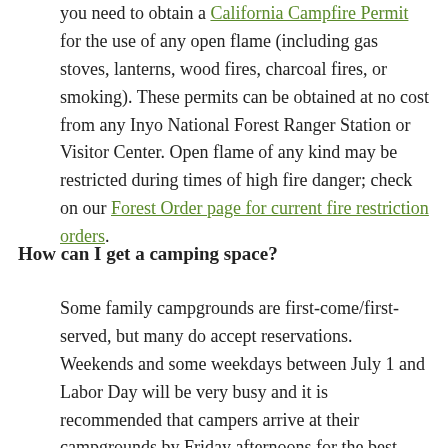you need to obtain a California Campfire Permit for the use of any open flame (including gas stoves, lanterns, wood fires, charcoal fires, or smoking). These permits can be obtained at no cost from any Inyo National Forest Ranger Station or Visitor Center. Open flame of any kind may be restricted during times of high fire danger; check on our Forest Order page for current fire restriction orders.
How can I get a camping space?
Some family campgrounds are first-come/first-served, but many do accept reservations. Weekends and some weekdays between July 1 and Labor Day will be very busy and it is recommended that campers arrive at their campgrounds by Friday afternoons for the best